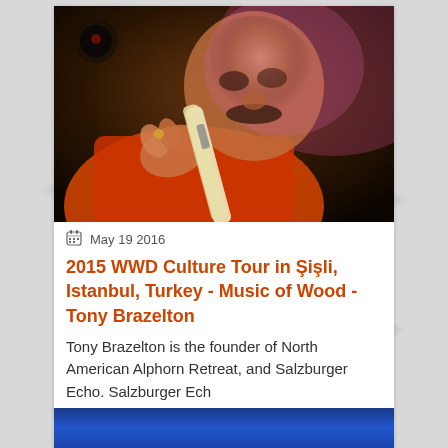[Figure (photo): A man in an orange jacket playing an alphorn instrument on stage, close-up shot with dramatic lighting]
May 19 2016
2015 WWD Culture Tour in Şişli, Istanbul, Turkey - Music of Wood - Tony Brazelton
Tony Brazelton is the founder of North American Alphorn Retreat, and Salzburger Echo. Salzburger Ech
...more